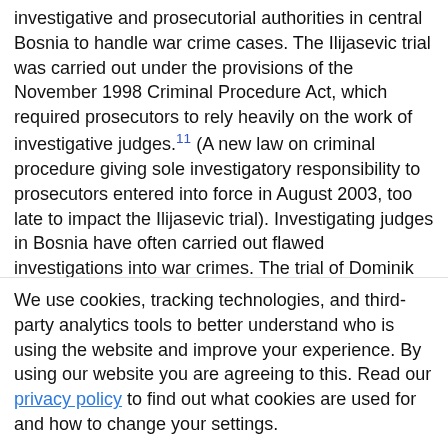investigative and prosecutorial authorities in central Bosnia to handle war crime cases. The Ilijasevic trial was carried out under the provisions of the November 1998 Criminal Procedure Act, which required prosecutors to rely heavily on the work of investigative judges.11 (A new law on criminal procedure giving sole investigatory responsibility to prosecutors entered into force in August 2003, too late to impact the Ilijasevic trial). Investigating judges in Bosnia have often carried out flawed investigations into war crimes. The trial of Dominik Ilijasevic, as well as another war crime trial unfolding before the Zenica Cantonal Court and monitored by Human Rights WatchÑthe trial of Bosnian Serb Tomo MihajlovicÑ reveal that the investigative judges in these cases have sometimes inserted phrases not uttered
We use cookies, tracking technologies, and third-party analytics tools to better understand who is using the website and improve your experience. By using our website you are agreeing to this. Read our privacy policy to find out what cookies are used for and how to change your settings.